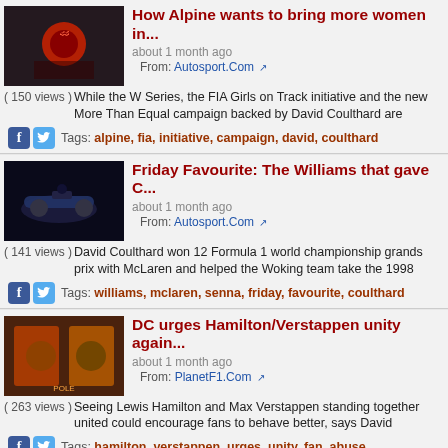How Alpine wants to bring more women in...
about 1 month ago
From: Autosport.Com
( 150 views ) While the W Series, the FIA Girls on Track initiative and the new More Than Equal campaign backed by David Coulthard are
Tags: alpine, fia, initiative, campaign, david, coulthard
Friday Favourite: The Williams that gave C...
about 1 month ago
From: Autosport.Com
( 141 views ) David Coulthard won 12 Formula 1 world championship grands prix with McLaren and helped the Woking team take the 1998
Tags: williams, mclaren, senna, friday, favourite, coulthard
DC urges Hamilton/Verstappen unity again...
about 1 month ago
From: PlanetF1.Com
( 263 views ) Seeing Lewis Hamilton and Max Verstappen standing together united could encourage fans to behave better, says David
Tags: hamilton, verstappen, urges, unity, fan, abuse
Video: David Richards On Leading Big Na...
about 1 month ago
From: YouTube.Com